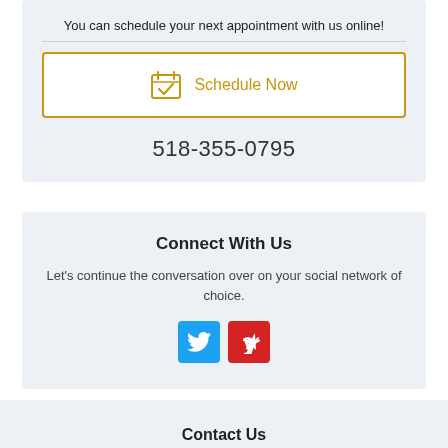You can schedule your next appointment with us online!
[Figure (infographic): Golden bordered button with calendar icon and 'Schedule Now' text in gold]
518-355-0795
Connect With Us
Let's continue the conversation over on your social network of choice.
[Figure (infographic): Two social media icon buttons: Twitter (blue) and Yelp (red)]
Contact Us